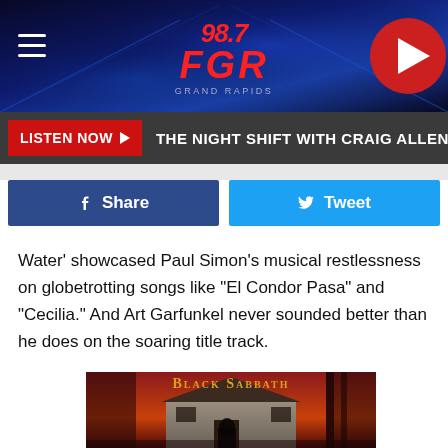[Figure (screenshot): 98.7 FGR Grand Rapids radio station header banner with blue stage lighting background, hamburger menu icon on left, station logo in center, red play button on right]
LISTEN NOW ▶  THE NIGHT SHIFT WITH CRAIG ALLEN
[Figure (infographic): Social sharing buttons row: blue Facebook Share button and cyan Twitter Tweet button]
Water' showcased Paul Simon's musical restlessness on globetrotting songs like "El Condor Pasa" and "Cecilia." And Art Garfunkel never sounded better than he does on the soaring title track.
[Figure (photo): Black Sabbath self-titled album cover art showing a dark house with gothic lettering 'BLACK SABBATH' at top, orange/red tinted image of a stone cottage with a dark robed figure in the foreground]